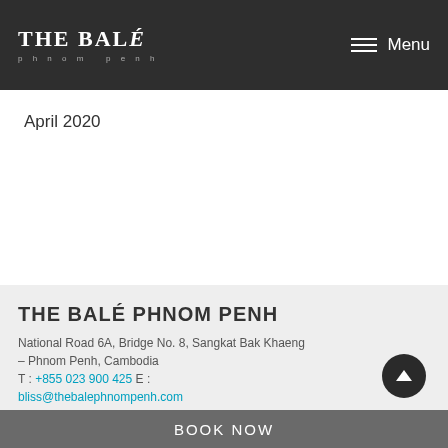THE BALÉ phnom penh  Menu
April 2020
THE BALÉ PHNOM PENH
National Road 6A, Bridge No. 8, Sangkat Bak Khaeng – Phnom Penh, Cambodia
T : +855 023 900 425  E :
bliss@thebalephnompenh.com
BOOK NOW